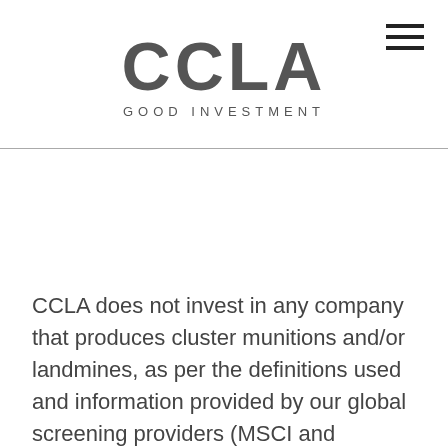CCLA GOOD INVESTMENT
CCLA does not invest in any company that produces cluster munitions and/or landmines, as per the definitions used and information provided by our global screening providers (MSCI and Sustainalytics). Exclusion lists are updated on a quarterly basis.